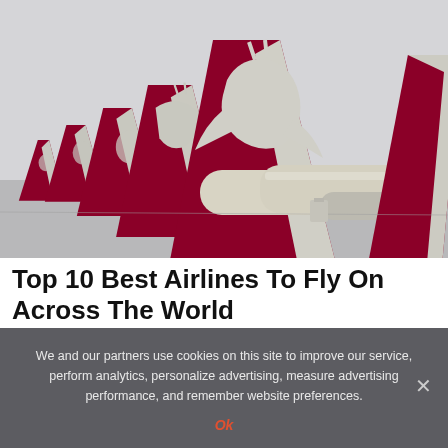[Figure (photo): Row of Qatar Airways aircraft tail fins lined up on tarmac, showing dark red/maroon Arabian oryx logo on cream/beige tails, viewed from the side at an angle]
Top 10 Best Airlines To Fly On Across The World
We and our partners use cookies on this site to improve our service, perform analytics, personalize advertising, measure advertising performance, and remember website preferences.
Ok